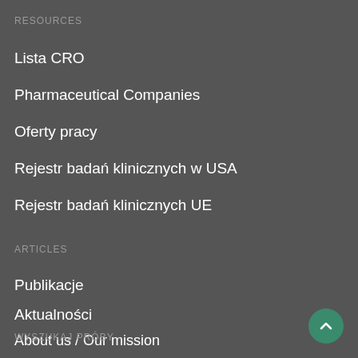RESOURCES
Lista CRO
Pharmaceutical Companies
Oferty pracy
Rejestr badań klinicznych w USA
Rejestr badań klinicznych UE
ARTICLES
Publikacje
Aktualności
About us / Our mission
WYSZUKAJ PRÓBY